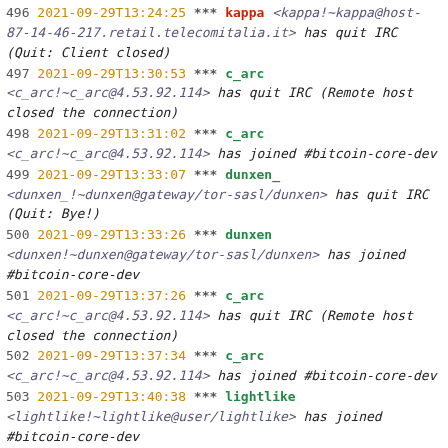496 2021-09-29T13:24:25  *** kappa <kappa!~kappa@host-87-14-46-217.retail.telecomitalia.it> has quit IRC (Quit: Client closed)
497 2021-09-29T13:30:53  *** c_arc <c_arc!~c_arc@4.53.92.114> has quit IRC (Remote host closed the connection)
498 2021-09-29T13:31:02  *** c_arc <c_arc!~c_arc@4.53.92.114> has joined #bitcoin-core-dev
499 2021-09-29T13:33:07  *** dunxen_ <dunxen_!~dunxen@gateway/tor-sasl/dunxen> has quit IRC (Quit: Bye!)
500 2021-09-29T13:33:26  *** dunxen <dunxen!~dunxen@gateway/tor-sasl/dunxen> has joined #bitcoin-core-dev
501 2021-09-29T13:37:26  *** c_arc <c_arc!~c_arc@4.53.92.114> has quit IRC (Remote host closed the connection)
502 2021-09-29T13:37:34  *** c_arc <c_arc!~c_arc@4.53.92.114> has joined #bitcoin-core-dev
503 2021-09-29T13:40:38  *** lightlike <lightlike!~lightlike@user/lightlike> has joined #bitcoin-core-dev
504 2021-09-29T13:41:01  <vasild> So, for 1h, my public_ipv4:non8333port node received 314 incoming connections. That is about 5 per minute.
505 2021-09-29T13:41:42  <vasild> But that is not very interesting. The interesting is if port is 8333.